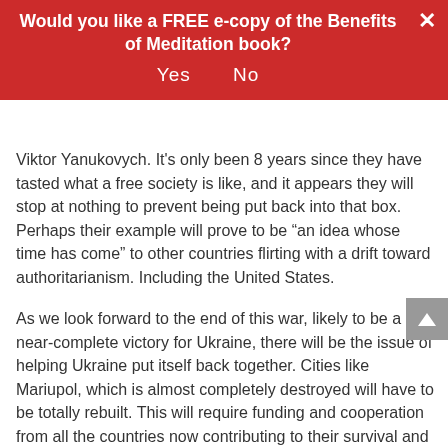Would you like a FREE e-copy of the Benefits of Meditation book? Yes   No
Viktor Yanukovych. It's only been 8 years since they have tasted what a free society is like, and it appears they will stop at nothing to prevent being put back into that box. Perhaps their example will prove to be “an idea whose time has come” to other countries flirting with a drift toward authoritarianism. Including the United States.

As we look forward to the end of this war, likely to be a near-complete victory for Ukraine, there will be the issue of helping Ukraine put itself back together. Cities like Mariupol, which is almost completely destroyed will have to be totally rebuilt. This will require funding and cooperation from all the countries now contributing to their survival and then some. This will not be an easy task and will require a